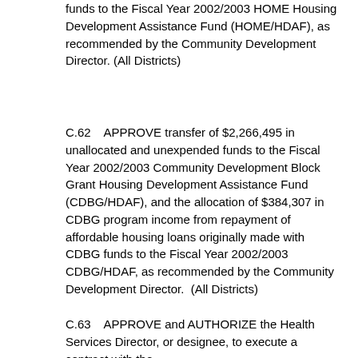funds to the Fiscal Year 2002/2003 HOME Housing Development Assistance Fund (HOME/HDAF), as recommended by the Community Development Director. (All Districts)
C.62    APPROVE transfer of $2,266,495 in unallocated and unexpended funds to the Fiscal Year 2002/2003 Community Development Block Grant Housing Development Assistance Fund (CDBG/HDAF), and the allocation of $384,307 in CDBG program income from repayment of affordable housing loans originally made with CDBG funds to the Fiscal Year 2002/2003 CDBG/HDAF, as recommended by the Community Development Director.  (All Districts)
C.63    APPROVE and AUTHORIZE the Health Services Director, or designee, to execute a contract with the